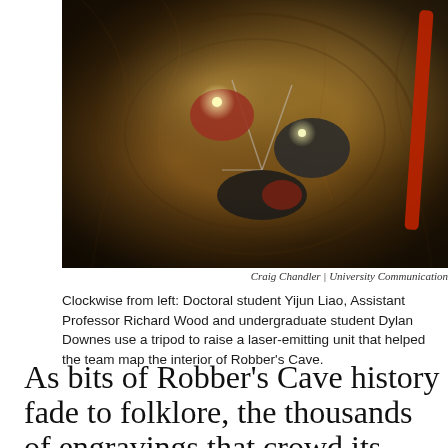[Figure (photo): Cave interior photo showing researchers using a tripod with a laser-emitting unit inside Robber's Cave. Three people visible in a rocky cave tunnel with warm sandstone walls. A red rope is visible on the right side. Headlamps illuminate the scene. Photo credit: Craig Chandler | University Communication.]
Craig Chandler | University Communication
Clockwise from left: Doctoral student Yijun Liao, Assistant Professor Richard Wood and undergraduate student Dylan Downes use a tripod to raise a laser-emitting unit that helped the team map the interior of Robber's Cave.
As bits of Robber's Cave history fade to folklore, the thousands of engravings that crowd its Dakota sandstone walls like graffiti are